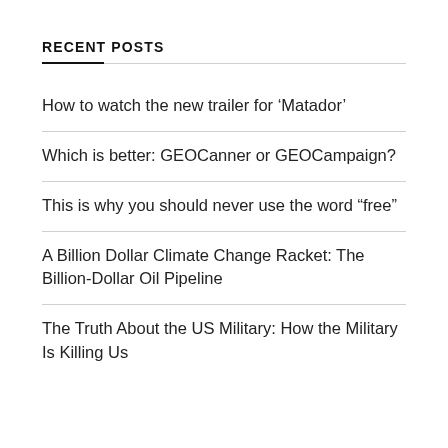RECENT POSTS
How to watch the new trailer for ‘Matador’
Which is better: GEOCanner or GEOCampaign?
This is why you should never use the word “free”
A Billion Dollar Climate Change Racket: The Billion-Dollar Oil Pipeline
The Truth About the US Military: How the Military Is Killing Us